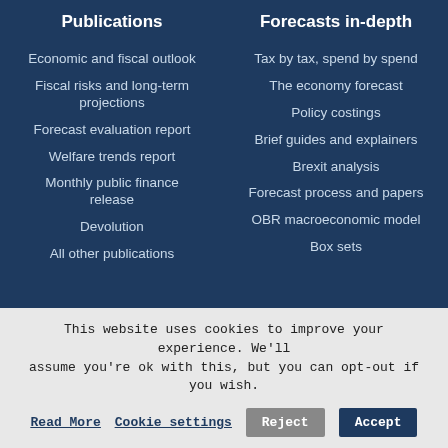Publications
Economic and fiscal outlook
Fiscal risks and long-term projections
Forecast evaluation report
Welfare trends report
Monthly public finance release
Devolution
All other publications
Forecasts in-depth
Tax by tax, spend by spend
The economy forecast
Policy costings
Brief guides and explainers
Brexit analysis
Forecast process and papers
OBR macroeconomic model
Box sets
This website uses cookies to improve your experience. We'll assume you're ok with this, but you can opt-out if you wish.
Read More  Cookie settings  Reject  Accept